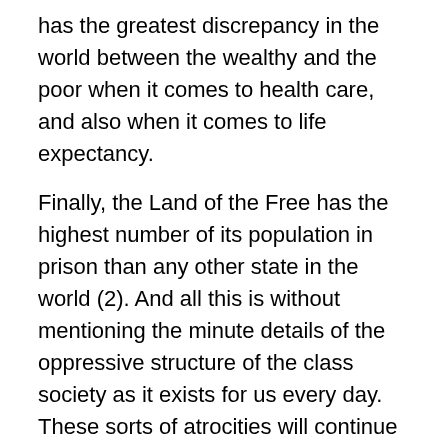has the greatest discrepancy in the world between the wealthy and the poor when it comes to health care, and also when it comes to life expectancy.
Finally, the Land of the Free has the highest number of its population in prison than any other state in the world (2). And all this is without mentioning the minute details of the oppressive structure of the class society as it exists for us every day. These sorts of atrocities will continue until this capitalist system is done away with through struggle and revolution in the US.
On the day of American Independence, among all other days, this is a fact for all of us to remember.
Sources
(1) Taken from Australian Options Quarterly No. 31,